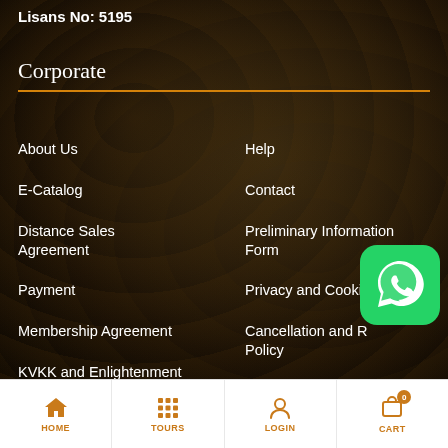Lisans No: 5195
Corporate
About Us
Help
E-Catalog
Contact
Distance Sales Agreement
Preliminary Information Form
Payment
Privacy and Cookie Policy
Membership Agreement
Cancellation and R... Policy
KVKK and Enlightenment
[Figure (logo): WhatsApp icon button (green rounded square with white phone/chat icon)]
HOME | TOURS | LOGIN | CART (0)